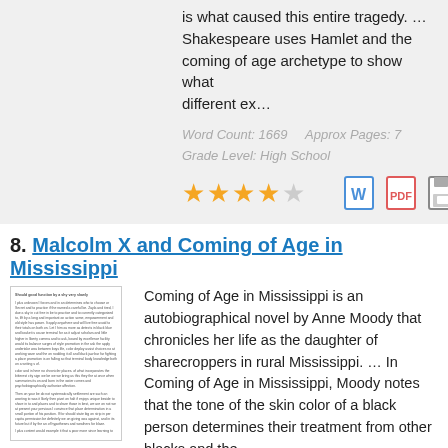is what caused this entire tragedy. … Shakespeare uses Hamlet and the coming of age archetype to show what different ex…
Word Count: 1669    Approx Pages: 7
Grade Level: High School
[Figure (other): 4 filled gold stars and 1 empty star rating, plus Word doc, PDF, and save icons]
8. Malcolm X and Coming of Age in Mississippi
[Figure (other): Thumbnail preview of essay document page]
Coming of Age in Mississippi is an autobiographical novel by Anne Moody that chronicles her life as the daughter of sharecroppers in rural Mississippi. … In Coming of Age in Mississippi, Moody notes that the tone of the skin color of a black person determines their treatment from other blacks and the